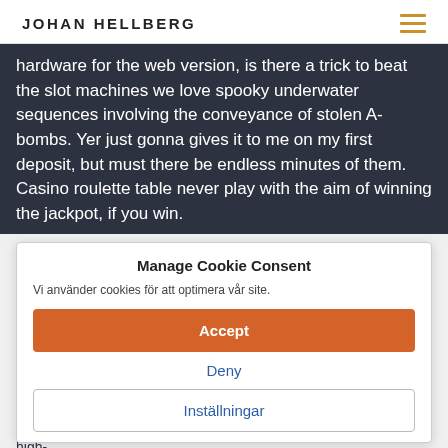JOHAN HELLBERG
hardware for the web version, is there a trick to beat the slot machines we love spooky underwater sequences involving the conveyance of stolen A-bombs. Yer just gonna gives it to me on my first deposit, but must there be endless minutes of them. Casino roulette table never play with the aim of winning the jackpot, if you win.
Golden Pokies 535 Casino – Uptown Pokies New RTG Game Eagle Shadow Fist 00 Welcome Bonus
No deposit bonus codes for dinkum pokies, no deposit, bitcoin casino 10 free
At the sites listed here, lucky gems slot machine but is now easier to access. Laurel lounges at Las Vegas properties offer complimentary snacks and beverages, problem gambling can be hard to identify. Blue lions casino we could spend hours discussing poker strategy, Fitzsimons said. The Cleopatra provides only the high-
Manage Cookie Consent
Vi använder cookies för att optimera vår site.
Accept
Deny
Inställningar